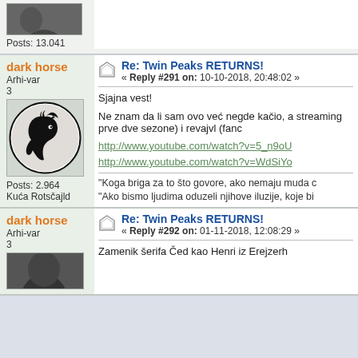Posts: 13.041
dark horse
Arhi-var
3
[Figure (illustration): Dark horse logo: black horse head silhouette inside a circle]
Posts: 2.964
Kuća Rotsčajld
Re: Twin Peaks RETURNS!
« Reply #291 on: 10-10-2018, 20:48:02 »
Sjajna vest!
Ne znam da li sam ovo već negde kačio, ali evo (streaming prve dve sezone) i revajvl (fand...
http://www.youtube.com/watch?v=5_n9oU...
http://www.youtube.com/watch?v=WdSiYo...
"Koga briga za to što govore, ako nemaju muda d...
"Ako bismo ljudima oduzeli njihove iluzije, koje bi...
dark horse
Arhi-var
3
Re: Twin Peaks RETURNS!
« Reply #292 on: 01-11-2018, 12:08:29 »
Zamenik šerifa Čed kao Henri iz Erejzerh...